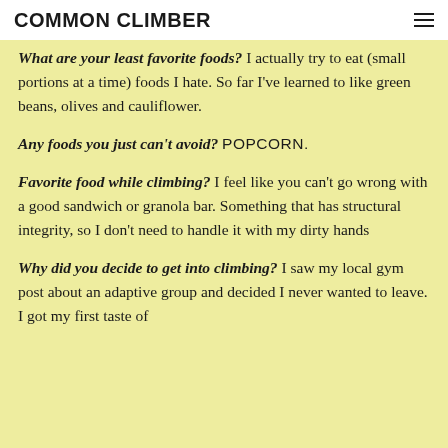COMMON CLIMBER
What are your least favorite foods?  I actually try to eat (small portions at a time) foods I hate.  So far I've learned to like green beans, olives and cauliflower.
Any foods you just can't avoid?  POPCORN.
Favorite food while climbing?  I feel like you can't go wrong with a good sandwich or granola bar. Something that has structural integrity, so I don't need to handle it with my dirty hands
Why did you decide to get into climbing? I saw my local gym post about an adaptive group and decided I never wanted to leave.  I got my first taste of